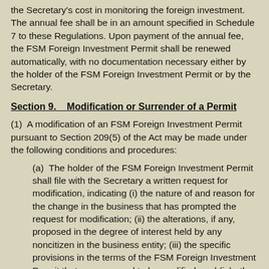the Secretary's cost in monitoring the foreign investment. The annual fee shall be in an amount specified in Schedule 7 to these Regulations. Upon payment of the annual fee, the FSM Foreign Investment Permit shall be renewed automatically, with no documentation necessary either by the holder of the FSM Foreign Investment Permit or by the Secretary.
Section 9.   Modification or Surrender of a Permit
(1)  A modification of an FSM Foreign Investment Permit pursuant to Section 209(5) of the Act may be made under the following conditions and procedures:
(a)  The holder of the FSM Foreign Investment Permit shall file with the Secretary a written request for modification, indicating (i) the nature of and reason for the change in the business that has prompted the request for modification; (ii) the alterations, if any, proposed in the degree of interest held by any noncitizen in the business entity; (iii) the specific provisions in the terms of the FSM Foreign Investment Permit that are proposed to be modified; and (iv) other information that would reasonably be considered pertinent to the Secretary's consideration of the request for modification.